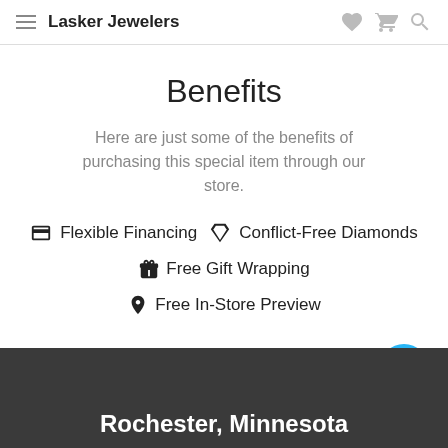Lasker Jewelers
Benefits
Here are just some of the benefits of purchasing this special item through our store.
Flexible Financing  Conflict-Free Diamonds
Free Gift Wrapping
Free In-Store Preview
Rochester, Minnesota